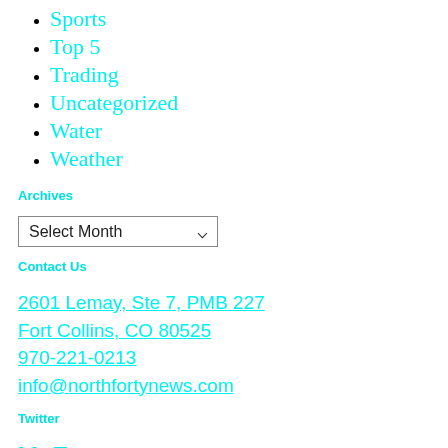Sports
Top 5
Trading
Uncategorized
Water
Weather
Archives
Select Month
Contact Us
2601 Lemay, Ste 7, PMB 227
Fort Collins, CO 80525
970-221-0213
info@northfortynews.com
Twitter
My Tweets